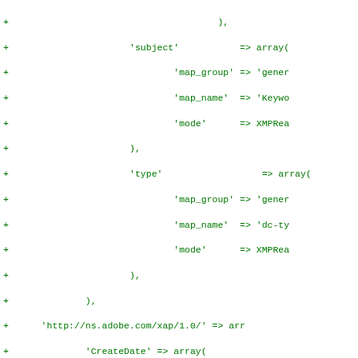Code diff showing PHP array configuration with XMP metadata mapping entries including subject, type, CreateDate, CreatorTool, Identifier, and Label keys with map_group, map_name, mode, and validate sub-keys.